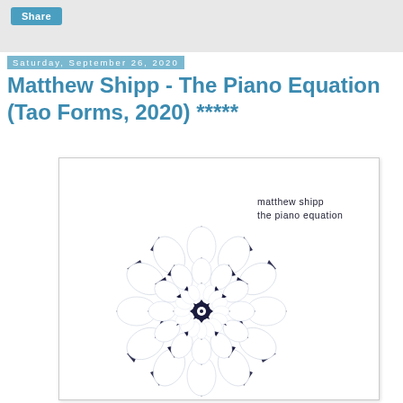Share
Saturday, September 26, 2020
Matthew Shipp - The Piano Equation (Tao Forms, 2020) *****
[Figure (photo): Album cover for Matthew Shipp - The Piano Equation. White background with a large navy blue and white geometric mandala/spiral pattern. Text in upper right reads 'matthew shipp' and 'the piano equation'.]